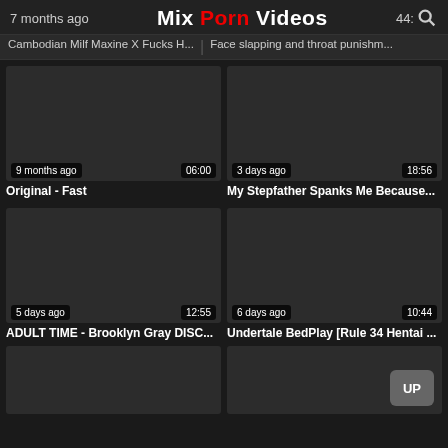7 months ago | Mix Porn Videos | 44:
Cambodian Milf Maxine X Fucks H... | Face slapping and throat punishm...
[Figure (screenshot): Video thumbnail placeholder dark gray, 9 months ago, 06:00]
Original - Fast
[Figure (screenshot): Video thumbnail placeholder dark gray, 3 days ago, 18:56]
My Stepfather Spanks Me Because...
[Figure (screenshot): Video thumbnail placeholder dark gray, 5 days ago, 12:55]
ADULT TIME - Brooklyn Gray DISC...
[Figure (screenshot): Video thumbnail placeholder dark gray, 6 days ago, 10:44]
Undertale BedPlay [Rule 34 Hentai ...
[Figure (screenshot): Partial video thumbnail bottom left]
[Figure (screenshot): Partial video thumbnail bottom right with UP button]